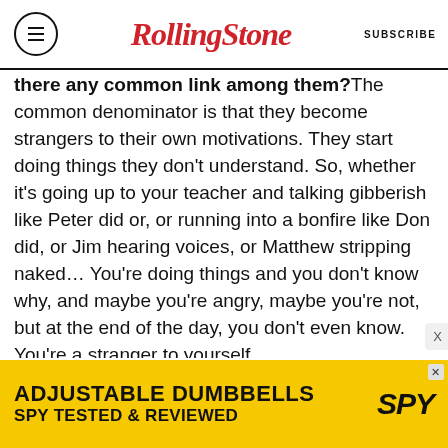Rolling Stone | SUBSCRIBE
there any common link among them? The common denominator is that they become strangers to their own motivations. They start doing things they don't understand. So, whether it's going up to your teacher and talking gibberish like Peter did or, or running into a bonfire like Don did, or Jim hearing voices, or Matthew stripping naked… You're doing things and you don't know why, and maybe you're angry, maybe you're not, but at the end of the day, you don't even know. You're a stranger to yourself.
The two daughters share some of the same horrible experiences, including being sexually
[Figure (infographic): Advertisement banner for Adjustable Dumbbells by SPY - yellow background with text ADJUSTABLE DUMBBELLS SPY TESTED & REVIEWED and SPY logo]